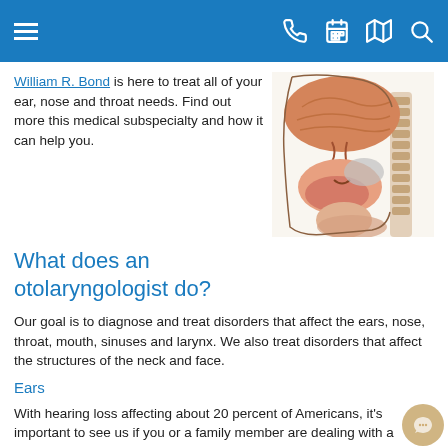[Navigation header bar with menu, phone, calendar, map, and search icons]
William R. Bond is here to treat all of your ear, nose and throat needs. Find out more this medical subspecialty and how it can help you.
[Figure (illustration): Anatomical cross-section illustration of the human head and neck showing ear, nose, throat structures in orange/brown tones]
What does an otolaryngologist do?
Our goal is to diagnose and treat disorders that affect the ears, nose, throat, mouth, sinuses and larynx. We also treat disorders that affect the structures of the neck and face.
Ears
With hearing loss affecting about 20 percent of Americans, it's important to see us if you or a family member are dealing with a hearing impairment that affects your quality of life. We offer a variety of treatments to help with everything from hearing loss and